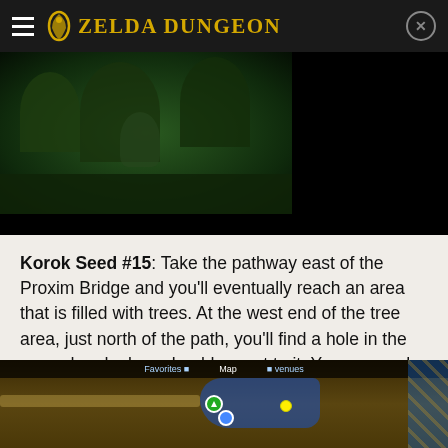Zelda Dungeon
[Figure (screenshot): Game screenshot showing a dark green forested area with a creature or character visible]
Korok Seed #15: Take the pathway east of the Proxim Bridge and you'll eventually reach an area that is filled with trees. At the west end of the tree area, just north of the path, you'll find a hole in the ground and a large boulder next to it. You can push the boulder into the hole, causing a Korok to appear.
[Figure (screenshot): In-game map screenshot showing Proxim Bridge area with map markers and terrain]